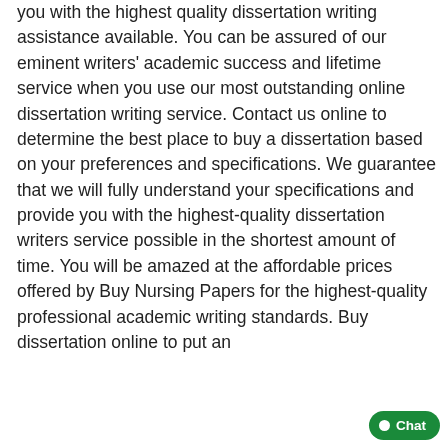you with the highest quality dissertation writing assistance available. You can be assured of our eminent writers' academic success and lifetime service when you use our most outstanding online dissertation writing service. Contact us online to determine the best place to buy a dissertation based on your preferences and specifications. We guarantee that we will fully understand your specifications and provide you with the highest-quality dissertation writers service possible in the shortest amount of time. You will be amazed at the affordable prices offered by Buy Nursing Papers for the highest-quality professional academic writing standards. Buy dissertation online to put an